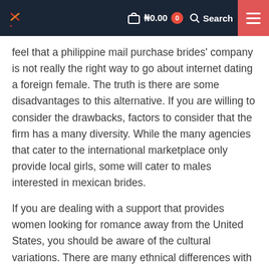₦0.00  0  Search
feel that a philippine mail purchase brides' company is not really the right way to go about internet dating a foreign female. The truth is there are some disadvantages to this alternative. If you are willing to consider the drawbacks, factors to consider that the firm has a many diversity. While the many agencies that cater to the international marketplace only provide local girls, some will cater to males interested in mexican brides.
If you are dealing with a support that provides women looking for romance away from the United States, you should be aware of the cultural variations. There are many ethnical differences with regards to women and men going out with. Russian ship order brides may also find that their potential life special someone does not have